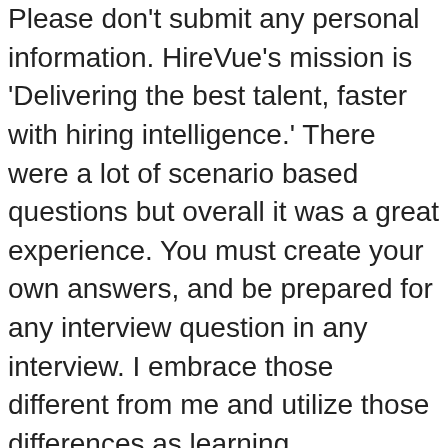Please don't submit any personal information. HireVue's mission is 'Delivering the best talent, faster with hiring intelligence.' There were a lot of scenario based questions but overall it was a great experience. You must create your own answers, and be prepared for any interview question in any interview. I embrace those different from me and utilize those differences as learning opportunities. ... right from the video interview through HireVue. I will turn this pain point around for you.". What is the best part of working at CVS Health? Continue practicing by visiting these similar question sets. Interview. Explain to the interviewer what this means to you. Does anybody here have any experience with how they ask questions on HireVue â€¦ HireVue helps companies to increase diversity through the use of artificial intelligence in the hiring and onboarding process. "I would describe my personality as approachable, light-hearted, and positive. Is this moving to a next step or does everyone get to do this? There were a lot of scenario based questions but overall it was a great experience. ", "To me, success comes when you accomplish and the people take something significant to